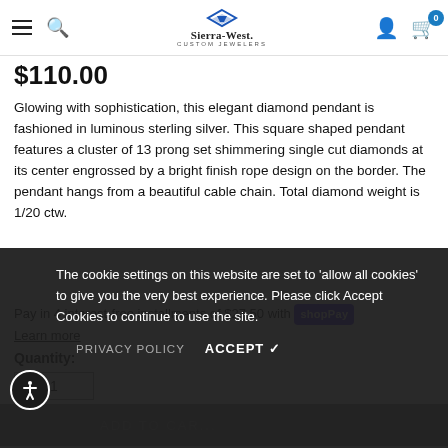Sierra-West Custom Jewelers — navigation header
$110.00
Glowing with sophistication, this elegant diamond pendant is fashioned in luminous sterling silver. This square shaped pendant features a cluster of 13 prong set shimmering single cut diamonds at its center engrossed by a bright finish rope design on the border. The pendant hangs from a beautiful cable chain. Total diamond weight is 1/20 ctw.
Pay in 4 interest-free installments of $27.50 with shop Pay
Learn more
Quantity:
The cookie settings on this website are set to 'allow all cookies' to give you the very best experience. Please click Accept Cookies to continue to use the site.
PRIVACY POLICY
ACCEPT ✓